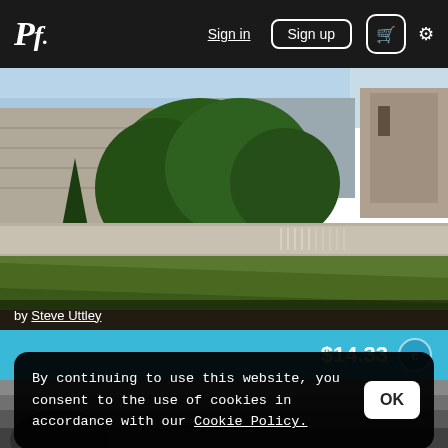Pf. Sign in | Sign up | Cart | Settings
[Figure (photo): Photograph of a medieval castle exterior with stone walls, towers, and lush green trees and grass in the foreground]
by Steve Uttley
$14.33 ©
[Figure (photo): Partial grayscale photograph visible below the cookie consent banner]
By continuing to use this website, you consent to the use of cookies in accordance with our Cookie Policy.
OK